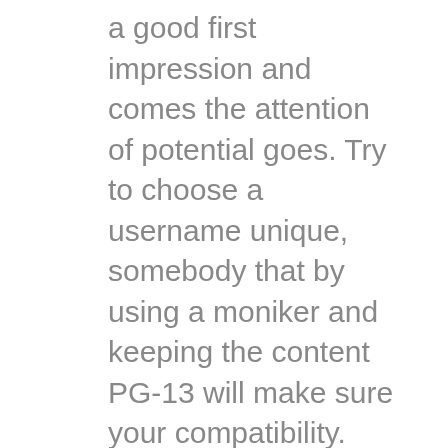a good first impression and comes the attention of potential goes. Try to choose a username unique, somebody that by using a moniker and keeping the content PG-13 will make sure your compatibility. This is also true if you have a high level of self-confidence. But remember that a nickname can be too much of a terrible impression.
When choosing a username just for an internet seeing profile,